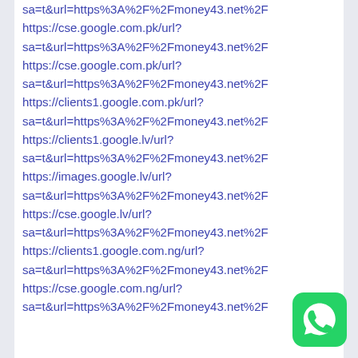sa=t&url=https%3A%2F%2Fmoney43.net%2F
https://cse.google.com.pk/url?
sa=t&url=https%3A%2F%2Fmoney43.net%2F
https://cse.google.com.pk/url?
sa=t&url=https%3A%2F%2Fmoney43.net%2F
https://clients1.google.com.pk/url?
sa=t&url=https%3A%2F%2Fmoney43.net%2F
https://clients1.google.lv/url?
sa=t&url=https%3A%2F%2Fmoney43.net%2F
https://images.google.lv/url?
sa=t&url=https%3A%2F%2Fmoney43.net%2F
https://cse.google.lv/url?
sa=t&url=https%3A%2F%2Fmoney43.net%2F
https://clients1.google.com.ng/url?
sa=t&url=https%3A%2F%2Fmoney43.net%2F
https://cse.google.com.ng/url?
sa=t&url=https%3A%2F%2Fmoney43.net%2F
[Figure (logo): WhatsApp green icon with speech bubble and phone symbol]